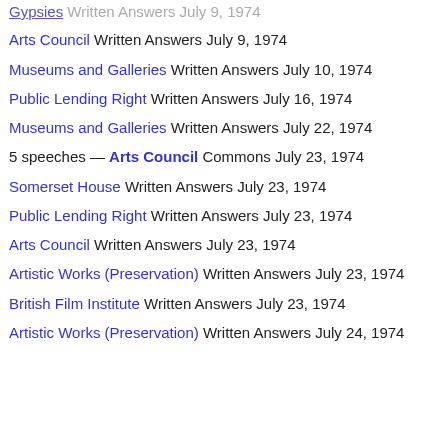Gypsies Written Answers July 9, 1974
Arts Council Written Answers July 9, 1974
Museums and Galleries Written Answers July 10, 1974
Public Lending Right Written Answers July 16, 1974
Museums and Galleries Written Answers July 22, 1974
5 speeches — Arts Council Commons July 23, 1974
Somerset House Written Answers July 23, 1974
Public Lending Right Written Answers July 23, 1974
Arts Council Written Answers July 23, 1974
Artistic Works (Preservation) Written Answers July 23, 1974
British Film Institute Written Answers July 23, 1974
Artistic Works (Preservation) Written Answers July 24, 1974